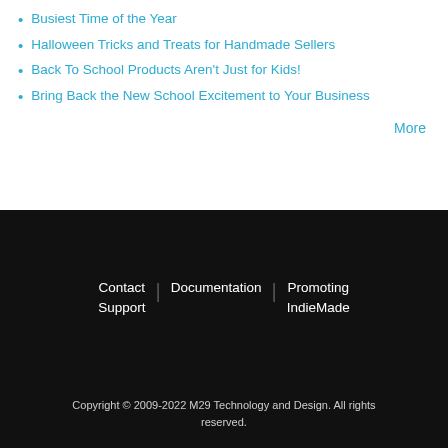Busiest Time of the Year
Halloween Tricks and Treats for Handmade Sellers
Back To School Products Aren't Just for Kids!
Bring Back the New School Excitement to Your Business
More
Contact Support | Documentation | Promoting IndieMade
Copyright © 2009-2022 M29 Technology and Design. All rights reserved.